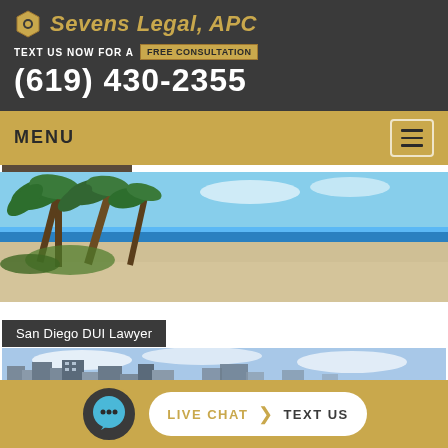Sevens Legal, APC
TEXT US NOW FOR A FREE CONSULTATION
(619) 430-2355
MENU
[Figure (photo): Beach scene with palm trees on left, white sand, blue ocean and sky — San Diego beach]
San Diego DUI Lawyer
[Figure (photo): San Diego city skyline with buildings and blue cloudy sky]
LIVE CHAT  TEXT US